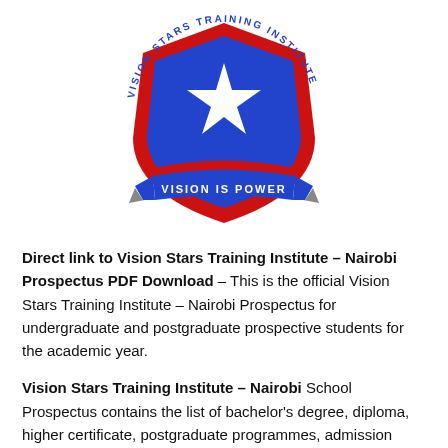[Figure (logo): Vision Stars Training Institute shield logo with a star in the center on a blue and red background, with a banner reading 'VISION IS POWER' and circular text reading 'VISION STARS TRAINING INSTITUTE']
Direct link to Vision Stars Training Institute – Nairobi Prospectus PDF Download – This is the official Vision Stars Training Institute – Nairobi Prospectus for undergraduate and postgraduate prospective students for the academic year.
Vision Stars Training Institute – Nairobi School Prospectus contains the list of bachelor's degree, diploma, higher certificate, postgraduate programmes, admission requirements, and all